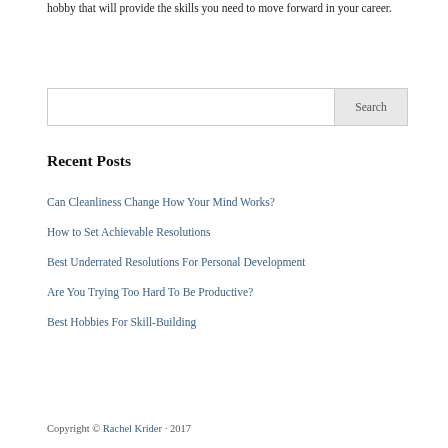hobby that will provide the skills you need to move forward in your career.
Search
Recent Posts
Can Cleanliness Change How Your Mind Works?
How to Set Achievable Resolutions
Best Underrated Resolutions For Personal Development
Are You Trying Too Hard To Be Productive?
Best Hobbies For Skill-Building
Copyright © Rachel Krider · 2017